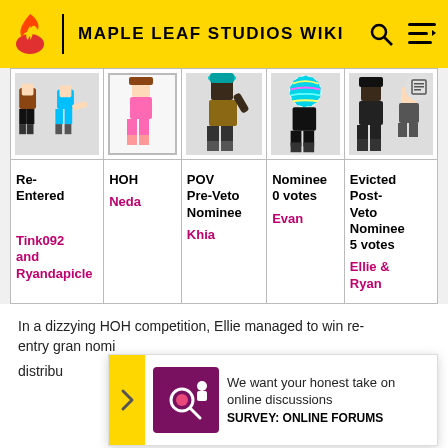MAPLE LEAF STUDIOS WIKI
| Re-Entered | HOH | POV Pre-Veto Nominee | Nominee 0 votes | Evicted Post-Veto Nominee 5 votes |
| --- | --- | --- | --- | --- |
| Tink092 and Ryandapicle | Neda | Khia | Evan | Ellie & Ryan |
In a dizzying HOH competition, Ellie managed to win re-entry gran... nomina... distribu...
[Figure (infographic): Ad overlay: We want your honest take on online discussions. SURVEY: ONLINE FORUMS]